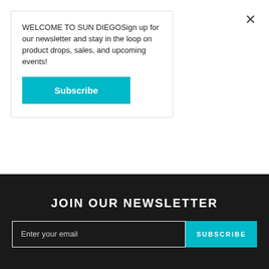WELCOME TO SUN DIEGOSign up for our newsletter and stay in the loop on product drops, sales, and upcoming events!
Subscribe
PURCHASES
SUN DIEGO
from $10.00
4 COLORS
JOIN OUR NEWSLETTER
Enter your email
SUBSCRIBE